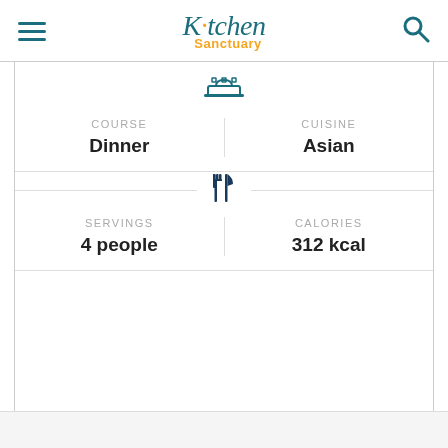Kitchen Sanctuary
|  |  |
| --- | --- |
| COURSE
Dinner | CUISINE
Asian |
| SERVINGS
4 people | CALORIES
312 kcal |